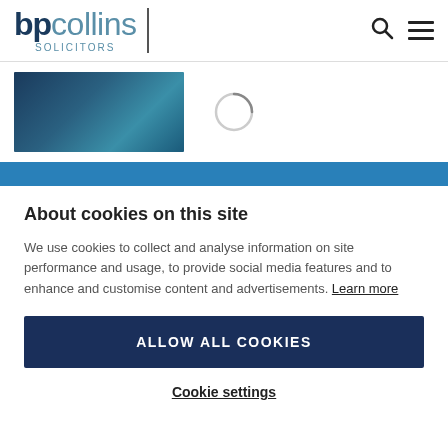bp collins SOLICITORS
[Figure (photo): Partial photo of outdoor scene with blue tones, and a loading spinner circle]
About cookies on this site
We use cookies to collect and analyse information on site performance and usage, to provide social media features and to enhance and customise content and advertisements. Learn more
ALLOW ALL COOKIES
Cookie settings